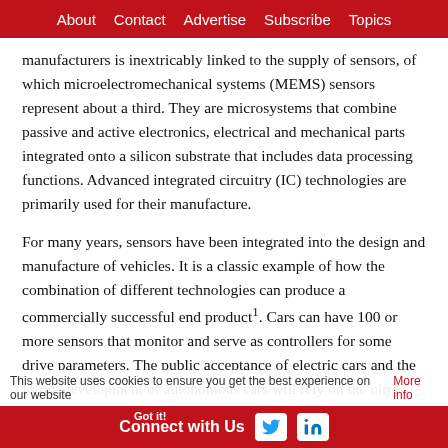About  Contact  Advertise  Subscribe  Topics
manufacturers is inextricably linked to the supply of sensors, of which microelectromechanical systems (MEMS) sensors represent about a third. They are microsystems that combine passive and active electronics, electrical and mechanical parts integrated onto a silicon substrate that includes data processing functions. Advanced integrated circuitry (IC) technologies are primarily used for their manufacture.
For many years, sensors have been integrated into the design and manufacture of vehicles. It is a classic example of how the combination of different technologies can produce a commercially successful end product¹. Cars can have 100 or more sensors that monitor and serve as controllers for some drive parameters. The public acceptance of electric cars and the future development of autonomous cars will rely on the ultra-reliability (defined as almost zero tolerance to failure) of these sensors. Redundant fail-safe systems, similar to those used in aircraft, will be required for autonomous cars.
The global automotive MEMS sensors market size was